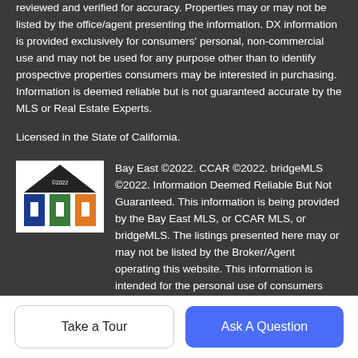reviewed and verified for accuracy. Properties may or may not be listed by the office/agent presenting the information. DX information is provided exclusively for consumers' personal, non-commercial use and may not be used for any purpose other than to identify prospective properties consumers may be interested in purchasing. Information is deemed reliable but is not guaranteed accurate by the MLS or Real Estate Experts.
Licensed in the State of California.
[Figure (logo): Bay East, CCAR, bridgeMLS combined logo with house icon and ©2022 text]
Bay East ©2022. CCAR ©2022. bridgeMLS ©2022. Information Deemed Reliable But Not Guaranteed. This information is being provided by the Bay East MLS, or CCAR MLS, or bridgeMLS. The listings presented here may or may not be listed by the Broker/Agent operating this website. This information is intended for the personal use of consumers and may not be used for any purpose other than to identify prospective properties consumers may be interested in purchasing. Data last updated at
Take a Tour
Ask A Question